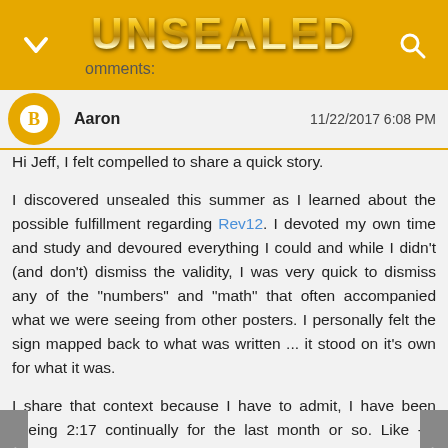UNSEALED
omments:
Aaron   11/22/2017 6:08 PM
Hi Jeff, I felt compelled to share a quick story.

I discovered unsealed this summer as I learned about the possible fulfillment regarding Rev12. I devoted my own time and study and devoured everything I could and while I didn't (and don't) dismiss the validity, I was very quick to dismiss any of the "numbers" and "math" that often accompanied what we were seeing from other posters. I personally felt the sign mapped back to what was written ... it stood on it's own for what it was.

I share that context because I have to admit, I have been seeing 2:17 continually for the last month or so. Like - I literally can't escape it. Again, I dismissed this